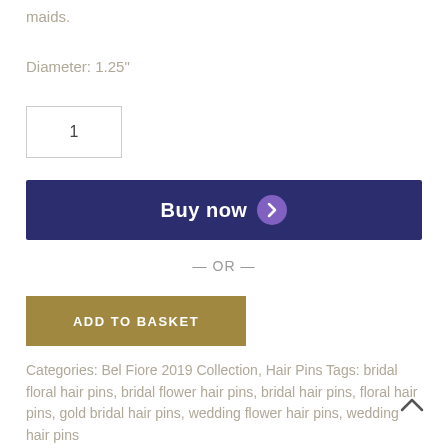maids.
Diameter: 1.25"
1
[Figure (other): Buy now button with dark navy background and purple chevron icon]
— OR —
[Figure (other): ADD TO BASKET button with gold/olive background]
Categories: Bel Fiore 2019 Collection, Hair Pins Tags: bridal floral hair pins, bridal flower hair pins, bridal hair pins, floral hair pins, gold bridal hair pins, wedding flower hair pins, wedding hair pins